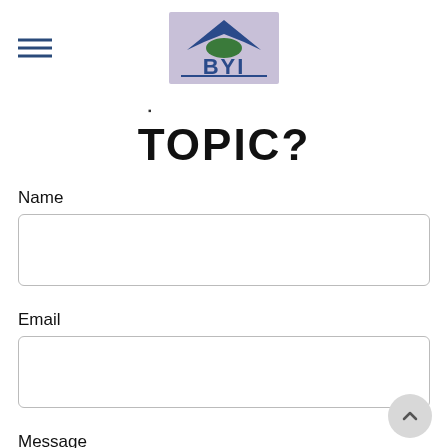[Figure (logo): BYI logo with mountain/wing graphic above text BYI, blue and green colors on light purple background]
TOPIC?
Name
Email
Message